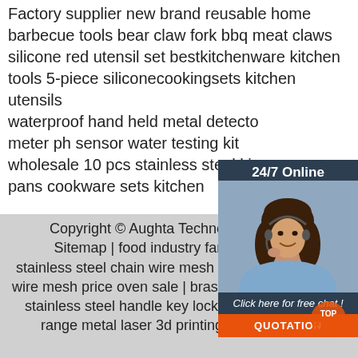Factory supplier new brand reusable home barbecue tools bear claw fork bbq meat claws silicone red utensil set bestkitchenware kitchen tools 5-piece siliconecookingsets kitchen utensils waterproof hand held metal detector meter ph sensor water testing kit wholesale 10 pcs stainless steel kitchen pans cookware sets kitchen
[Figure (photo): Customer service representative woman with headset smiling, overlaid on a dark blue '24/7 Online' chat widget with 'Click here for free chat!' text and an orange QUOTATION button]
Copyright © Aughta Technology (Shenzh... Sitemap | food industry farm metal high stainless steel chain wire mesh spiral conveyor belt wire mesh price oven sale | brass lockable ball valve stainless steel handle key lockable gate valve all range metal laser 3d printing stainless steel